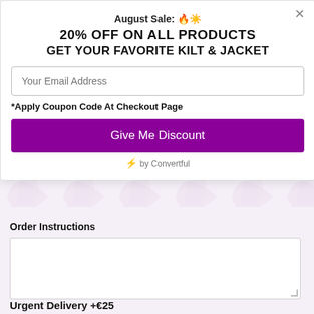August Sale: 🔥☀️
20% OFF ON ALL PRODUCTS
GET YOUR FAVORITE KILT & JACKET
Your Email Address
*Apply Coupon Code At Checkout Page
Give Me Discount
⚡ by Convertful
Order Instructions
Urgent Delivery +€25